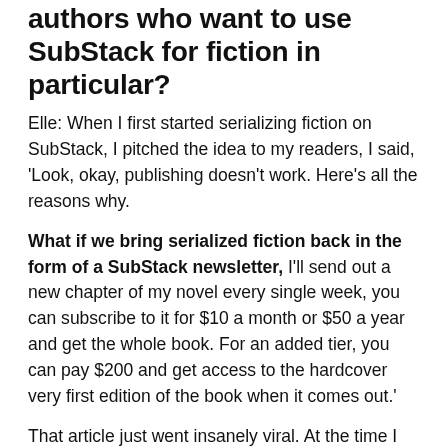authors who want to use SubStack for fiction in particular?
Elle: When I first started serializing fiction on SubStack, I pitched the idea to my readers, I said, 'Look, okay, publishing doesn't work. Here's all the reasons why.
What if we bring serialized fiction back in the form of a SubStack newsletter, I'll send out a new chapter of my novel every single week, you can subscribe to it for $10 a month or $50 a year and get the whole book. For an added tier, you can pay $200 and get access to the hardcover very first edition of the book when it comes out.'
That article just went insanely viral. At the time I